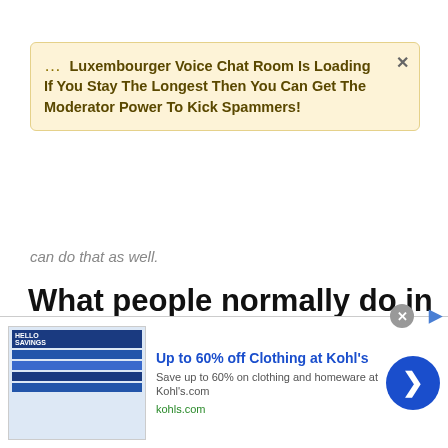Luxembourger Voice Chat Room Is Loading If You Stay The Longest Then You Can Get The Moderator Power To Kick Spammers!
can do that as well.
What people normally do in Luxembourger random chat rooms & random chatting sites?
In Luxembourg chat rooms, most people like to find Luxembourger near them, so they look for
[Figure (screenshot): Advertisement banner: Up to 60% off Clothing at Kohl's. Save up to 60% on clothing and homeware at Kohls.com. kohls.com]